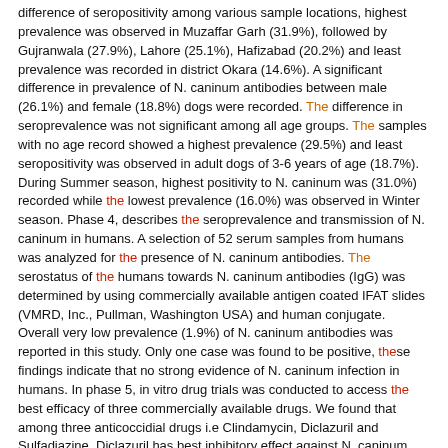difference of seropositivity among various sample locations, highest prevalence was observed in Muzaffar Garh (31.9%), followed by Gujranwala (27.9%), Lahore (25.1%), Hafizabad (20.2%) and least prevalence was recorded in district Okara (14.6%). A significant difference in prevalence of N. caninum antibodies between male (26.1%) and female (18.8%) dogs were recorded. The difference in seroprevalence was not significant among all age groups. The samples with no age record showed a highest prevalence (29.5%) and least seropositivity was observed in adult dogs of 3-6 years of age (18.7%). During Summer season, highest positivity to N. caninum was (31.0%) recorded while the lowest prevalence (16.0%) was observed in Winter season. Phase 4, describes the seroprevalence and transmission of N. caninum in humans. A selection of 52 serum samples from humans was analyzed for the presence of N. caninum antibodies. The serostatus of the humans towards N. caninum antibodies (IgG) was determined by using commercially available antigen coated IFAT slides (VMRD, Inc., Pullman, Washington USA) and human conjugate. Overall very low prevalence (1.9%) of N. caninum antibodies was reported in this study. Only one case was found to be positive, these findings indicate that no strong evidence of N. caninum infection in humans. In phase 5, in vitro drug trials was conducted to access the best efficacy of three commercially available drugs. We found that among three anticoccidial drugs i.e Clindamycin, Diclazuril and Sulfadiazine, Diclazuril has best inhibitory effect against N. caninum tachyzoites in cell culture followed by Clindamycin and sulfadiazine.
Availability: Items available for loan: UVAS Library [Call number: 1575,T] (1).
Place hold
Add to cart